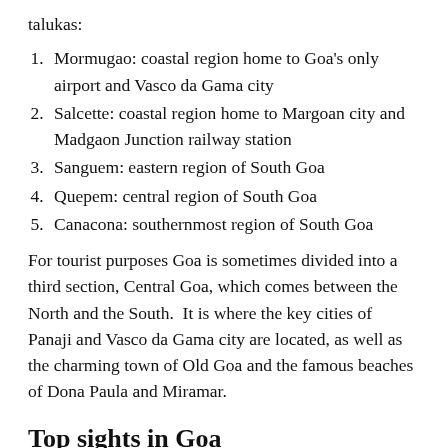talukas:
Mormugao: coastal region home to Goa's only airport and Vasco da Gama city
Salcette: coastal region home to Margoan city and Madgaon Junction railway station
Sanguem: eastern region of South Goa
Quepem: central region of South Goa
Canacona: southernmost region of South Goa
For tourist purposes Goa is sometimes divided into a third section, Central Goa, which comes between the North and the South.  It is where the key cities of Panaji and Vasco da Gama city are located, as well as the charming town of Old Goa and the famous beaches of Dona Paula and Miramar.
Top sights in Goa